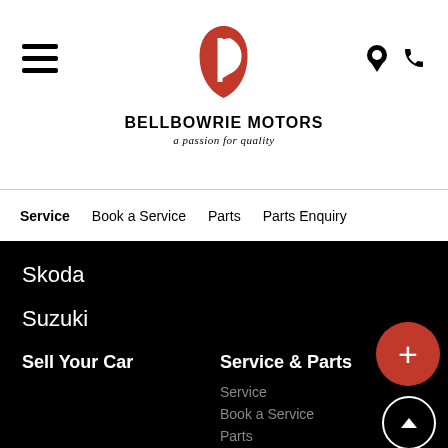[Figure (logo): Bellbowrie Motors logo with red stylized D icon and brand name]
Service  Book a Service  Parts  Parts Enquiry
Skoda
Suzuki
Used Cars
Sell Your Car
Service & Parts
Service
Book a Service
Parts
Parts Enquiry